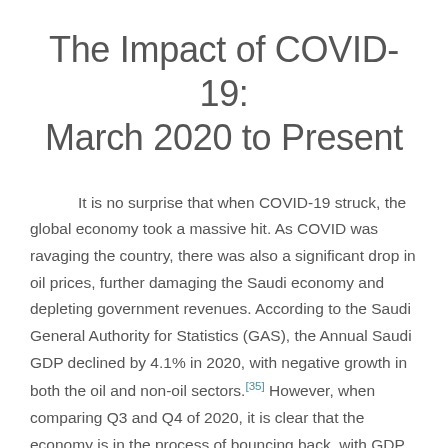The Impact of COVID-19: March 2020 to Present
It is no surprise that when COVID-19 struck, the global economy took a massive hit. As COVID was ravaging the country, there was also a significant drop in oil prices, further damaging the Saudi economy and depleting government revenues. According to the Saudi General Authority for Statistics (GAS), the Annual Saudi GDP declined by 4.1% in 2020, with negative growth in both the oil and non-oil sectors.[35] However, when comparing Q3 and Q4 of 2020, it is clear that the economy is in the process of bouncing back, with GDP per capita rising 3.8% and national GDP